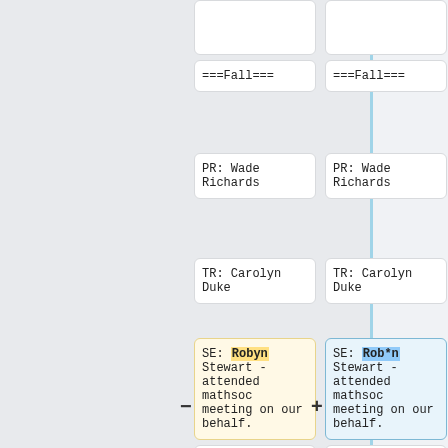===Fall===
===Fall===
PR: Wade Richards
PR: Wade Richards
TR: Carolyn Duke
TR: Carolyn Duke
SE: Robyn Stewart - attended mathsoc meeting on our behalf.
SE: Rob*n Stewart - attended mathsoc meeting on our behalf.
Kivi Shapiro - attended mathsoc meeting on our behalf.
Kivi Shapiro - attended mathsoc meeting on our behalf.